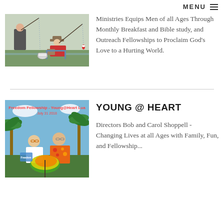MENU ≡
[Figure (photo): Two people fishing outdoors, one in red shirt and hat seated in a chair, another person standing, fishing rods visible, near water]
Ministries Equips Men of all Ages Through Monthly Breakfast and Bible study, and Outreach Fellowships to Proclaim God's Love to a Hurting World.
[Figure (photo): Freedom Fellowship Young@Heart Luau event photo, July 31 2018, showing two people (Bob and Carol Shoppell) in tropical Hawaiian attire with palm trees background]
YOUNG @ HEART
Directors Bob and Carol Shoppell - Changing Lives at all Ages with Family, Fun, and Fellowship...